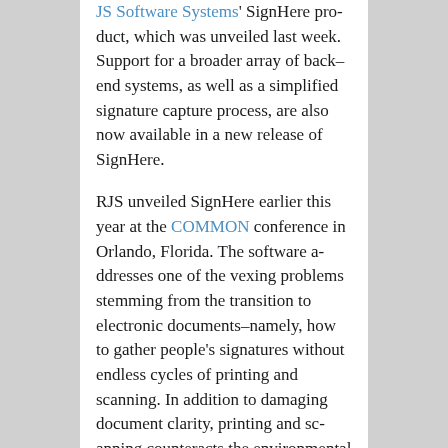JS Software Systems' SignHere product, which was unveiled last week. Support for a broader array of back-end systems, as well as a simplified signature capture process, are also now available in a new release of SignHere.
RJS unveiled SignHere earlier this year at the COMMON conference in Orlando, Florida. The software addresses one of the vexing problems stemming from the transition to electronic documents–namely, how to gather people's signatures without endless cycles of printing and scanning. In addition to damaging document clarity, printing and scanning counteracts the environmental benefits of using electronic documents in the first place. It's also a giant hassle.
With SignHere, users can add signa